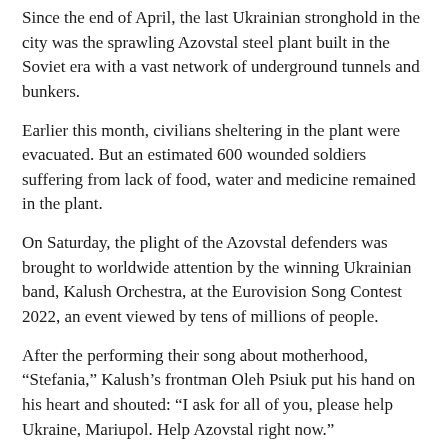Since the end of April, the last Ukrainian stronghold in the city was the sprawling Azovstal steel plant built in the Soviet era with a vast network of underground tunnels and bunkers.
Earlier this month, civilians sheltering in the plant were evacuated. But an estimated 600 wounded soldiers suffering from lack of food, water and medicine remained in the plant.
On Saturday, the plight of the Azovstal defenders was brought to worldwide attention by the winning Ukrainian band, Kalush Orchestra, at the Eurovision Song Contest 2022, an event viewed by tens of millions of people.
After the performing their song about motherhood, “Stefania,” Kalush’s frontman Oleh Psiuk put his hand on his heart and shouted: “I ask for all of you, please help Ukraine, Mariupol. Help Azotstal right now.”
But the next day, Russian forces dropped incendiary or phosphorus bombs on the steel plant, Ukrainian